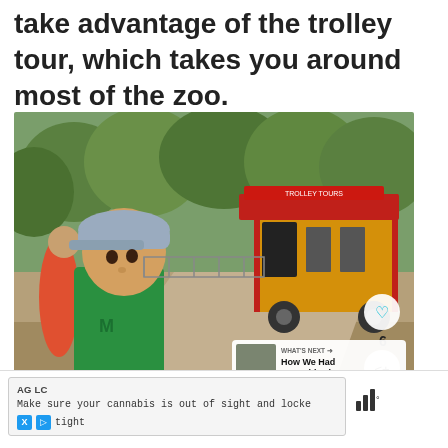take advantage of the trolley tour, which takes you around most of the zoo.
[Figure (photo): A young child wearing a grey cap and green t-shirt stands in foreground at a zoo. In the background, a red and yellow open-air trolley vehicle is parked on a path surrounded by trees. Other visitors are visible on the left side.]
WHAT'S NEXT → How We Had Fun With Ki...
AG LC
Make sure your cannabis is out of sight and locked tight